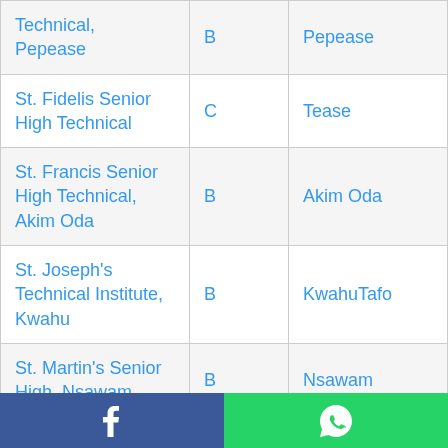| Technical, Pepease | B | Pepease |
| St. Fidelis Senior High Technical | C | Tease |
| St. Francis Senior High Technical, Akim Oda | B | Akim Oda |
| St. Joseph's Technical Institute, Kwahu | B | KwahuTafo |
| St. Martin's Senior High, Nsawam | B | Nsawam |